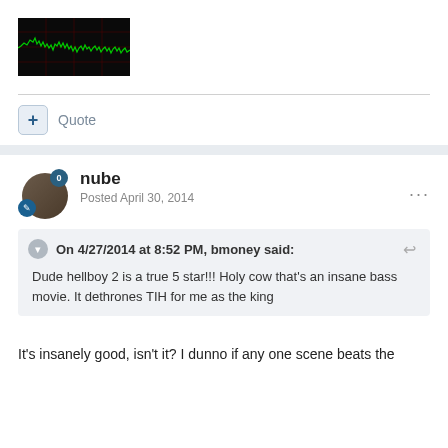[Figure (continuous-plot): Dark background oscilloscope/waveform chart showing green signal line with red grid lines]
+ Quote
nube
Posted April 30, 2014
On 4/27/2014 at 8:52 PM, bmoney said:
Dude hellboy 2 is a true 5 star!!! Holy cow that's an insane bass movie. It dethrones TIH for me as the king
It's insanely good, isn't it?  I dunno if any one scene beats the